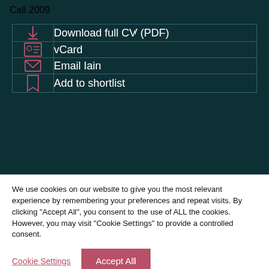Call 2009
| ↓ | Download full CV (PDF) |
| [vcard icon] | vCard |
| [email icon] | Email Iain |
| [bookmark icon] | Add to shortlist |
We use cookies on our website to give you the most relevant experience by remembering your preferences and repeat visits. By clicking "Accept All", you consent to the use of ALL the cookies. However, you may visit "Cookie Settings" to provide a controlled consent.
Cookie Settings   Accept All